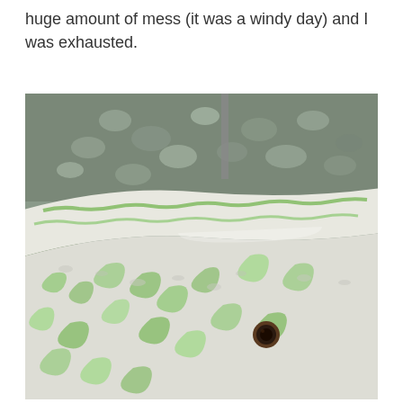huge amount of mess (it was a windy day) and I was exhausted.
[Figure (photo): A white mattress or inflatable pool liner with green algae or mold stains spread across its surface, leaning against something outdoors in a garden setting. There is a visible hole/drain on the lower right portion. The background shows gravel, plants, and a red brick/stone path.]